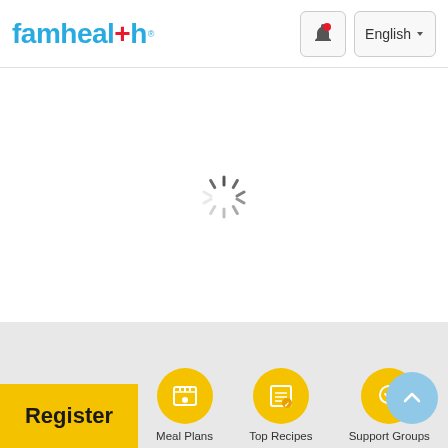famhealth — English
[Figure (other): Loading spinner (spinning circle indicator) centered in the page content area]
Register
Meal Plans
Top Recipes
Support Groups